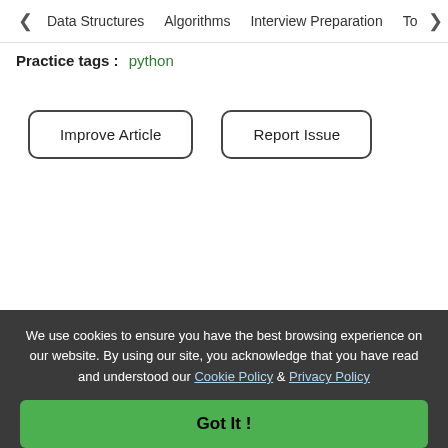< Data Structures   Algorithms   Interview Preparation   To>
Practice tags :   python
Improve Article
Report Issue
Writing code in comment? Please use ide.geeksforgeeks.org, generate link and share the link here.
Load Comments
We use cookies to ensure you have the best browsing experience on our website. By using our site, you acknowledge that you have read and understood our Cookie Policy & Privacy Policy
Got It !